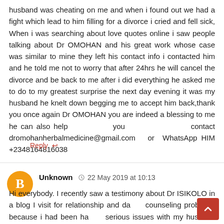husband was cheating on me and when i found out we had a fight which lead to him filling for a divorce i cried and fell sick, When i was searching about love quotes online i saw people talking about Dr OMOHAN and his great work whose case was similar to mine they left his contact info i contacted him and he told me not to worry that after 24hrs he will cancel the divorce and be back to me after i did everything he asked me to do to my greatest surprise the next day evening it was my husband he knelt down begging me to accept him back,thank you once again Dr OMOHAN you are indeed a blessing to me he can also help you contact dromohanherbalmedicine@gmail.com or WhatsApp HIM +2348164816038
Reply ↩
Unknown  22 May 2019 at 10:13
Hi everybody. I recently saw a testimony about Dr ISIKOLO in a blog I visit for relationship and dating counseling problems because i had been having serious issues with my husband and we had been